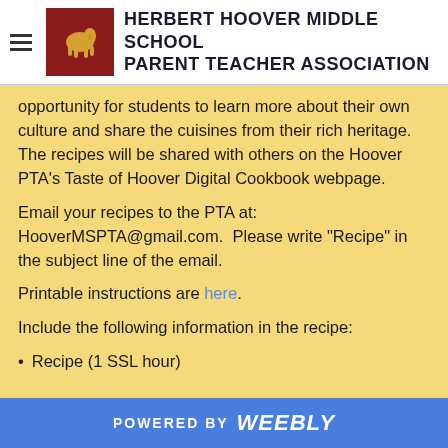HERBERT HOOVER MIDDLE SCHOOL PARENT TEACHER ASSOCIATION
opportunity for students to learn more about their own culture and share the cuisines from their rich heritage. The recipes will be shared with others on the Hoover PTA's Taste of Hoover Digital Cookbook webpage.
Email your recipes to the PTA at: HooverMSPTA@gmail.com.  Please write "Recipe" in the subject line of the email.
Printable instructions are here.
Include the following information in the recipe:
Recipe (1 SSL hour)
POWERED BY weebly